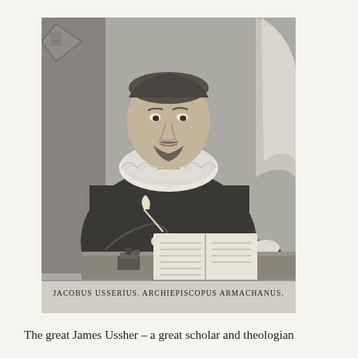[Figure (illustration): Black and white engraved portrait of James Ussher (Jacobus Usserius), Archbishop of Armagh (Archiepiscopus Armachanus), seated at a desk writing in an open book. He wears a large ruffled collar and dark clerical robes. A coat of arms is visible in the upper left corner. The inscription at the bottom reads: JACOBUS USSERIUS. ARCHIEPISCOPUS ARMACHANUS.]
The great James Ussher – a great scholar and theologian